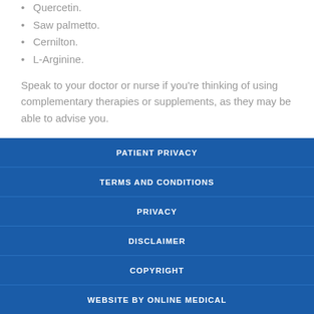Quercetin.
Saw palmetto.
Cernilton.
L-Arginine.
Speak to your doctor or nurse if you're thinking of using complementary therapies or supplements, as they may be able to advise you.
PATIENT PRIVACY | TERMS AND CONDITIONS | PRIVACY | DISCLAIMER | COPYRIGHT | WEBSITE BY ONLINE MEDICAL